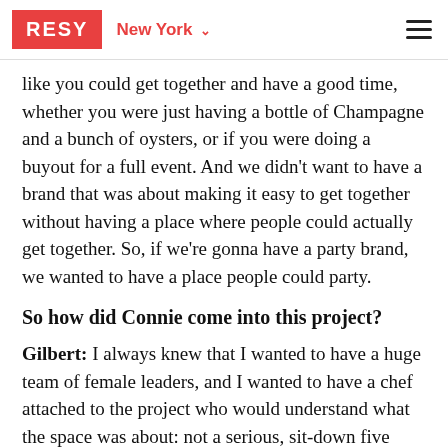RESY  New York  ☰
like you could get together and have a good time, whether you were just having a bottle of Champagne and a bunch of oysters, or if you were doing a buyout for a full event. And we didn't want to have a brand that was about making it easy to get together without having a place where people could actually get together. So, if we're gonna have a party brand, we wanted to have a place people could party.
So how did Connie come into this project?
Gilbert: I always knew that I wanted to have a huge team of female leaders, and I wanted to have a chef attached to the project who would understand what the space was about: not a serious, sit-down five course menu, but really about how we wanted to entertain. And I wanted to have a New York-based fe[male chef]. And when we were saying hey, we need somebody who has the kind of sensitivity and thoughtfulness to develop this menu, the first